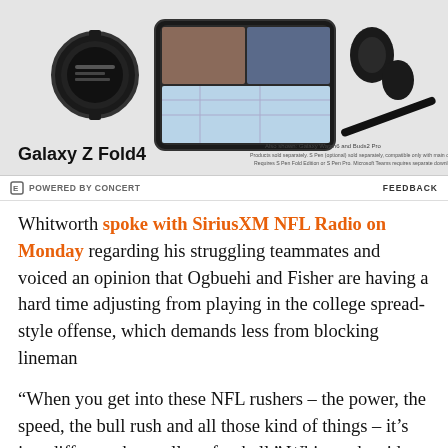[Figure (photo): Samsung Galaxy Z Fold4 advertisement showing the device along with Galaxy Watch6 and Buds2 Pro. Text reads 'Galaxy Z Fold4' and 'Also shown: Galaxy Watch6 and Buds2 Pro. Products sold separately. S Pen (optional) sold separately, compatible only with main display. Requires S Pen Fold Edition or S Pen Pro. Microsoft Teams requires separate download.']
POWERED BY CONCERT    FEEDBACK
Whitworth spoke with SiriusXM NFL Radio on Monday regarding his struggling teammates and voiced an opinion that Ogbuehi and Fisher are having a hard time adjusting from playing in the college spread-style offense, which demands less from blocking lineman
“When you get into these NFL rushers – the power, the speed, the bull rush and all those kind of things – it’s just different than college football,” Whitworth said. He didn’t have the same problem as LSU’s offense is pro-